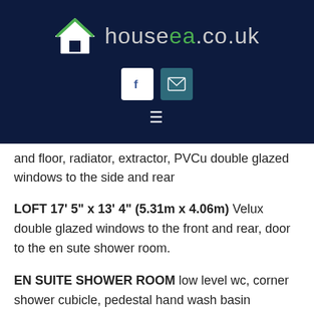[Figure (logo): houseea.co.uk logo with house icon on dark navy background, social media icons (Facebook and email), and hamburger menu]
and floor, radiator, extractor, PVCu double glazed windows to the side and rear
LOFT 17' 5" x 13' 4" (5.31m x 4.06m) Velux double glazed windows to the front and rear, door to the en sute shower room.
EN SUITE SHOWER ROOM low level wc, corner shower cubicle, pedestal hand wash basin